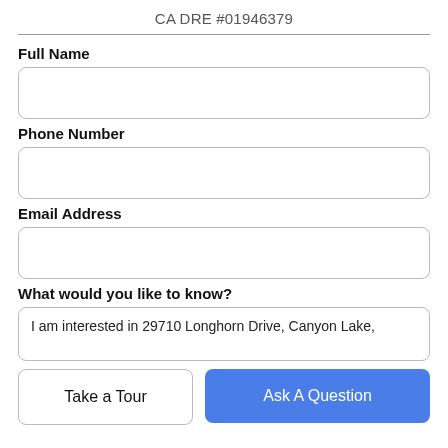CA DRE #01946379
Full Name
Phone Number
Email Address
What would you like to know?
I am interested in 29710 Longhorn Drive, Canyon Lake,
Take a Tour
Ask A Question